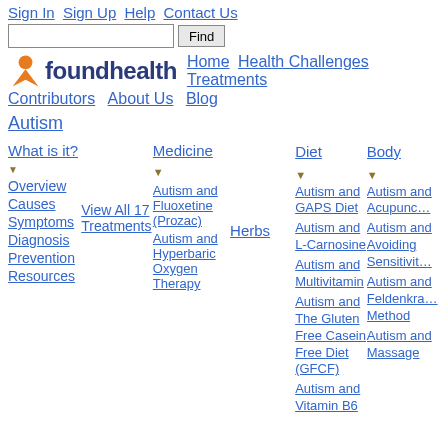Sign In  Sign Up  Help  Contact Us
foundhealth — Home  Health Challenges  Treatments  Contributors  About Us  Blog
Autism
What is it?
Overview
Causes
Symptoms
Diagnosis
Prevention
Resources
View All 17 Treatments
Medicine
Autism and Fluoxetine (Prozac)
Autism and Hyperbaric Oxygen Therapy
Herbs
Diet
Autism and GAPS Diet
Autism and L-Carnosine
Autism and Multivitamin
Autism and The Gluten Free Casein Free Diet (GFCF)
Autism and Vitamin B6
Body
Autism and Acupuncture
Autism and Avoiding Sensitivities
Autism and Feldenkrais Method
Autism and Massage